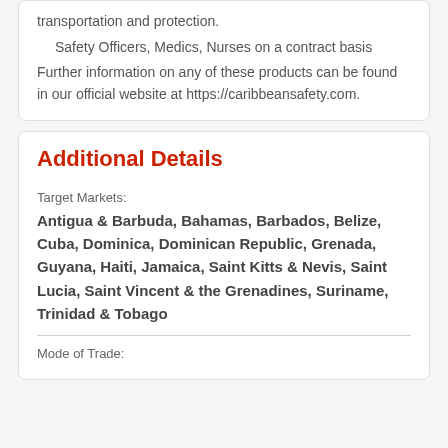transportation and protection.
    Safety Officers, Medics, Nurses on a contract basis Further information on any of these products can be found in our official website at https://caribbeansafety.com.
Additional Details
Target Markets:
Antigua & Barbuda, Bahamas, Barbados, Belize, Cuba, Dominica, Dominican Republic, Grenada, Guyana, Haiti, Jamaica, Saint Kitts & Nevis, Saint Lucia, Saint Vincent & the Grenadines, Suriname, Trinidad & Tobago
Mode of Trade: